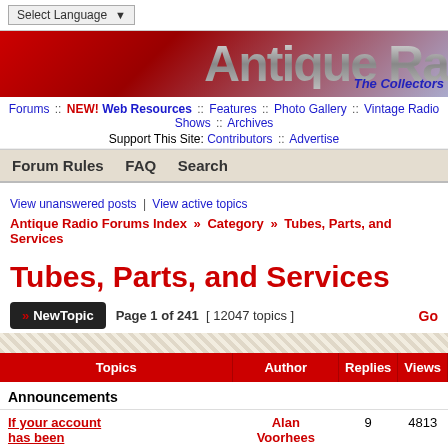Select Language
[Figure (illustration): Antique Radio website banner with metallic logo text 'Antique Ra' and subtitle 'The Collectors']
Forums :: NEW! Web Resources :: Features :: Photo Gallery :: Vintage Radio Shows :: Archives Support This Site: Contributors :: Advertise
Forum Rules   FAQ   Search
View unanswered posts | View active topics
Antique Radio Forums Index » Category » Tubes, Parts, and Services
Tubes, Parts, and Services
Page 1 of 241  [ 12047 topics ]
| Topics | Author | Replies | Views |
| --- | --- | --- | --- |
| Announcements |  |  |  |
| If your account has been... | Alan Voorhees | 9 | 4813 |